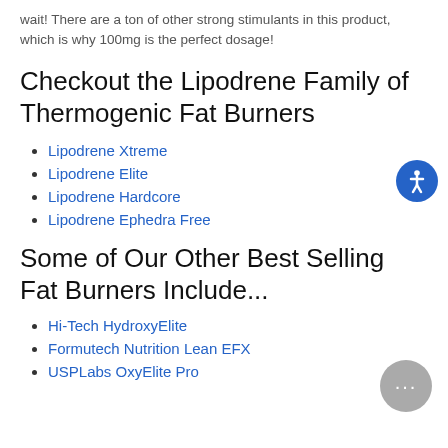wait! There are a ton of other strong stimulants in this product, which is why 100mg is the perfect dosage!
Checkout the Lipodrene Family of Thermogenic Fat Burners
Lipodrene Xtreme
Lipodrene Elite
Lipodrene Hardcore
Lipodrene Ephedra Free
Some of Our Other Best Selling Fat Burners Include...
Hi-Tech HydroxyElite
Formutech Nutrition Lean EFX
USPLabs OxyElite Pro